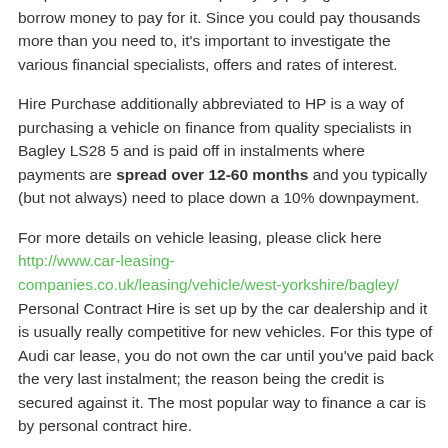the price of the vehicle more pricey by paying too much to borrow money to pay for it. Since you could pay thousands more than you need to, it's important to investigate the various financial specialists, offers and rates of interest.
Hire Purchase additionally abbreviated to HP is a way of purchasing a vehicle on finance from quality specialists in Bagley LS28 5 and is paid off in instalments where payments are spread over 12-60 months and you typically (but not always) need to place down a 10% downpayment.
For more details on vehicle leasing, please click here http://www.car-leasing-companies.co.uk/leasing/vehicle/west-yorkshire/bagley/ Personal Contract Hire is set up by the car dealership and it is usually really competitive for new vehicles. For this type of Audi car lease, you do not own the car until you've paid back the very last instalment; the reason being the credit is secured against it. The most popular way to finance a car is by personal contract hire.
Personal Contract Plans